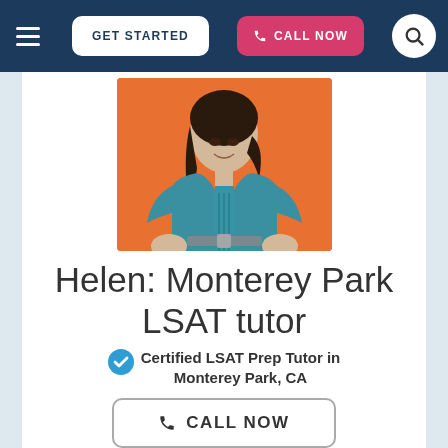GET STARTED | CALL NOW
[Figure (photo): Woman with dark hair wearing a teal/blue dress with a belt, posing with hands on hips against an orange background]
Helen: Monterey Park LSAT tutor
Certified LSAT Prep Tutor in Monterey Park, CA
CALL NOW